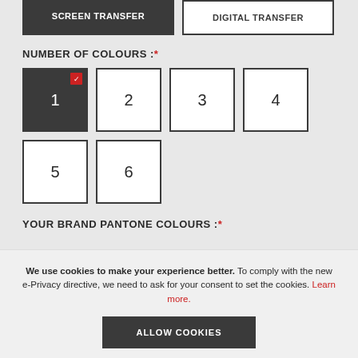SCREEN TRANSFER
DIGITAL TRANSFER
NUMBER OF COLOURS :*
1 (selected)
2
3
4
5
6
YOUR BRAND PANTONE COLOURS :*
We use cookies to make your experience better. To comply with the new e-Privacy directive, we need to ask for your consent to set the cookies. Learn more.
ALLOW COOKIES